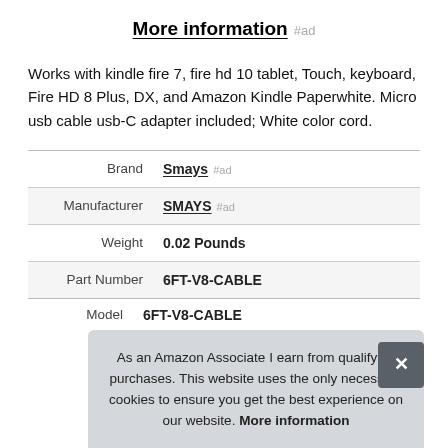More information #ad
Works with kindle fire 7, fire hd 10 tablet, Touch, keyboard, Fire HD 8 Plus, DX, and Amazon Kindle Paperwhite. Micro usb cable usb-C adapter included; White color cord.
|  |  |
| --- | --- |
| Brand | Smays #ad |
| Manufacturer | SMAYS #ad |
| Weight | 0.02 Pounds |
| Part Number | 6FT-V8-CABLE |
| Model | 6FT-V8-CABLE |
As an Amazon Associate I earn from qualifying purchases. This website uses the only necessary cookies to ensure you get the best experience on our website. More information